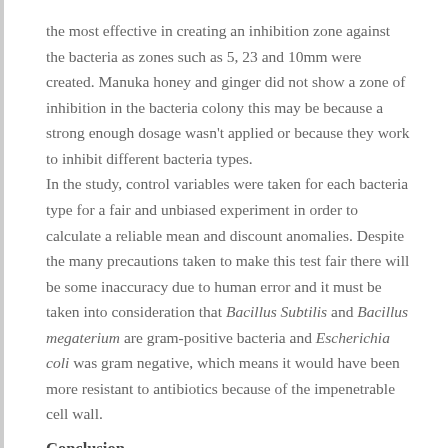the most effective in creating an inhibition zone against the bacteria as zones such as 5, 23 and 10mm were created. Manuka honey and ginger did not show a zone of inhibition in the bacteria colony this may be because a strong enough dosage wasn't applied or because they work to inhibit different bacteria types.
In the study, control variables were taken for each bacteria type for a fair and unbiased experiment in order to calculate a reliable mean and discount anomalies. Despite the many precautions taken to make this test fair there will be some inaccuracy due to human error and it must be taken into consideration that Bacillus Subtilis and Bacillus megaterium are gram-positive bacteria and Escherichia coli was gram negative, which means it would have been more resistant to antibiotics because of the impenetrable cell wall.
Conclusion